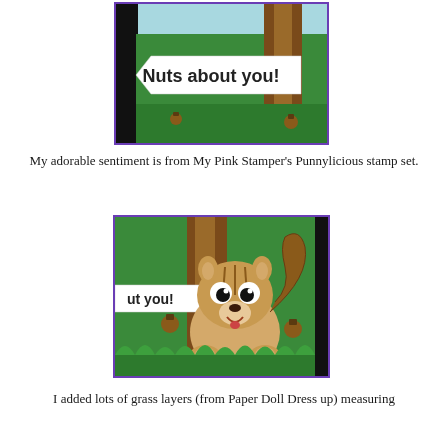[Figure (photo): Close-up photo of a handmade card showing a banner stamp reading 'Nuts about you!' against a green and brown tree background]
My adorable sentiment is from My Pink Stamper's Punnylicious stamp set.
[Figure (photo): Close-up photo of a handmade card featuring a cute cartoon squirrel with acorns, green grass layers, and a partial view of the 'ut you!' banner]
I added lots of grass layers (from Paper Doll Dress up) measuring